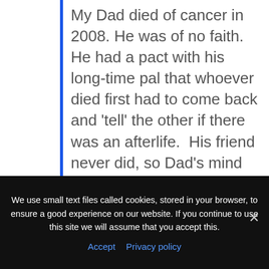My Dad died of cancer in 2008. He was of no faith. He had a pact with his long-time pal that whoever died first had to come back and 'tell' the other if there was an afterlife. His friend never did, so Dad's mind was made up! So when Dad died, we didn't want a church service as it would have felt wrong. So, we asked if we could have a very personal service at graveside – which we did. We wrote a long speech all about his life and played snippets from 6 of his favourite songs. All his old pals were jigging along at the graveside. It felt very fitting and personal, not soulless like many "traditional" church or crematory services can be, where only the shortest snippet seems to
We use small text files called cookies, stored in your browser, to ensure a good experience on our website. If you continue to use this site we will assume that you accept this.
Accept  Privacy policy